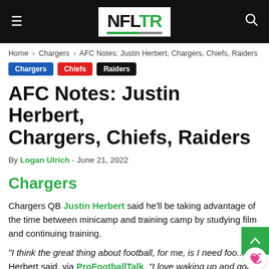NFL TR
Home › Chargers › AFC Notes: Justin Herbert, Chargers, Chiefs, Raiders
Chargers
Chiefs
Raiders
AFC Notes: Justin Herbert, Chargers, Chiefs, Raiders
By Logan Ulrich - June 21, 2022
Chargers
Chargers QB Justin Herbert said he'll be taking advantage of the time between minicamp and training camp by studying film and continuing training.
"I think the great thing about football, for me, is I need foo... Herbert said, via ProFootballTalk. "I love waking up and going